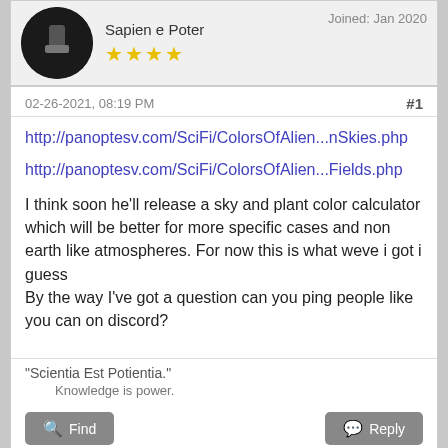Sapien e Poter
★★★★
Joined: Jan 2020
02-26-2021, 08:19 PM
#1
http://panoptesv.com/SciFi/ColorsOfAlien...nSkies.php
http://panoptesv.com/SciFi/ColorsOfAlien...Fields.php
I think soon he'll release a sky and plant color calculator which will be better for more specific cases and non earth like atmospheres. For now this is what weve i got i guess
By the way I've got a question can you ping people like you can on discord?
"Scientia Est Potientia."
    Knowledge is power.
Find
Reply
selden
Posts: 1,513
Threads: 70